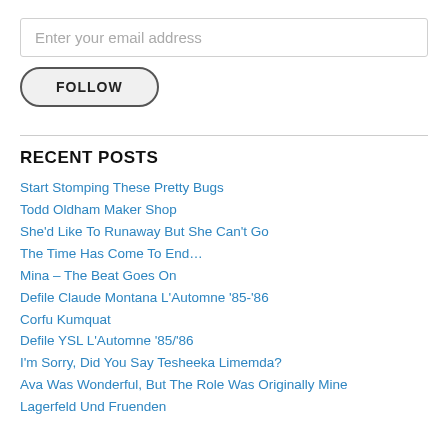Enter your email address
FOLLOW
RECENT POSTS
Start Stomping These Pretty Bugs
Todd Oldham Maker Shop
She'd Like To Runaway But She Can't Go
The Time Has Come To End…
Mina – The Beat Goes On
Defile Claude Montana L'Automne '85-'86
Corfu Kumquat
Defile YSL L'Automne '85/'86
I'm Sorry, Did You Say Tesheeka Limemda?
Ava Was Wonderful, But The Role Was Originally Mine
Lagerfeld Und Fruenden